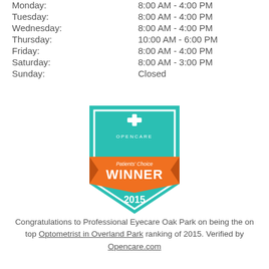| Day | Hours |
| --- | --- |
| Monday: | 8:00 AM - 4:00 PM |
| Tuesday: | 8:00 AM - 4:00 PM |
| Wednesday: | 8:00 AM - 4:00 PM |
| Thursday: | 10:00 AM - 6:00 PM |
| Friday: | 8:00 AM - 4:00 PM |
| Saturday: | 8:00 AM - 3:00 PM |
| Sunday: | Closed |
[Figure (logo): Opencare Patients' Choice Winner 2015 badge — teal shield with orange ribbon banner displaying WINNER and year 2015]
Congratulations to Professional Eyecare Oak Park on being the on top Optometrist in Overland Park ranking of 2015. Verified by Opencare.com